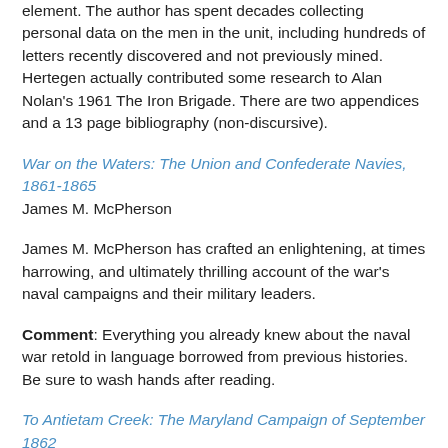element. The author has spent decades collecting personal data on the men in the unit, including hundreds of letters recently discovered and not previously mined. Hertegen actually contributed some research to Alan Nolan's 1961 The Iron Brigade. There are two appendices and a 13 page bibliography (non-discursive).
War on the Waters: The Union and Confederate Navies, 1861-1865
James M. McPherson
James M. McPherson has crafted an enlightening, at times harrowing, and ultimately thrilling account of the war's naval campaigns and their military leaders.
Comment: Everything you already knew about the naval war retold in language borrowed from previous histories. Be sure to wash hands after reading.
To Antietam Creek: The Maryland Campaign of September 1862
David S. Hartwig